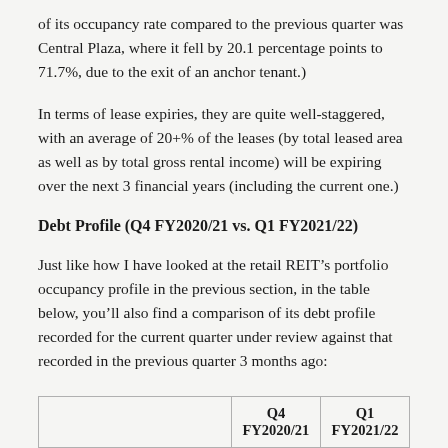of its occupancy rate compared to the previous quarter was Central Plaza, where it fell by 20.1 percentage points to 71.7%, due to the exit of an anchor tenant.)
In terms of lease expiries, they are quite well-staggered, with an average of 20+% of the leases (by total leased area as well as by total gross rental income) will be expiring over the next 3 financial years (including the current one.)
Debt Profile (Q4 FY2020/21 vs. Q1 FY2021/22)
Just like how I have looked at the retail REIT's portfolio occupancy profile in the previous section, in the table below, you'll also find a comparison of its debt profile recorded for the current quarter under review against that recorded in the previous quarter 3 months ago:
|  | Q4 FY2020/21 | Q1 FY2021/22 |
| --- | --- | --- |